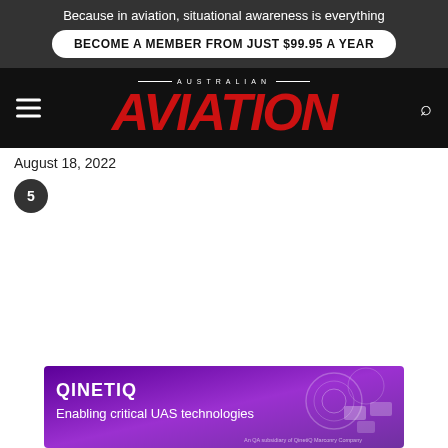Because in aviation, situational awareness is everything
BECOME A MEMBER FROM JUST $99.95 A YEAR
[Figure (logo): Australian Aviation magazine logo with red bold italic AVIATION text on black background]
August 18, 2022
5
[Figure (other): QinetiQ advertisement banner with purple gradient background, text: QinetiQ Enabling critical UAS technologies, with drone/UAV imagery on the right]